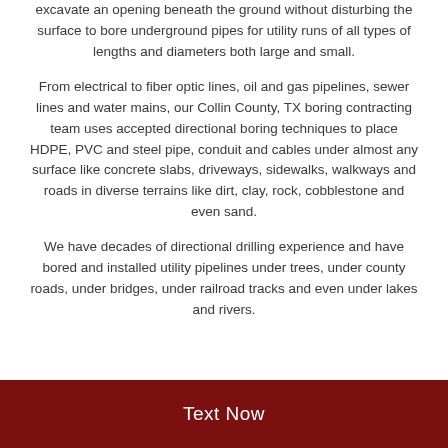excavate an opening beneath the ground without disturbing the surface to bore underground pipes for utility runs of all types of lengths and diameters both large and small.
From electrical to fiber optic lines, oil and gas pipelines, sewer lines and water mains, our Collin County, TX boring contracting team uses accepted directional boring techniques to place HDPE, PVC and steel pipe, conduit and cables under almost any surface like concrete slabs, driveways, sidewalks, walkways and roads in diverse terrains like dirt, clay, rock, cobblestone and even sand.
We have decades of directional drilling experience and have bored and installed utility pipelines under trees, under county roads, under bridges, under railroad tracks and even under lakes and rivers.
Text Now